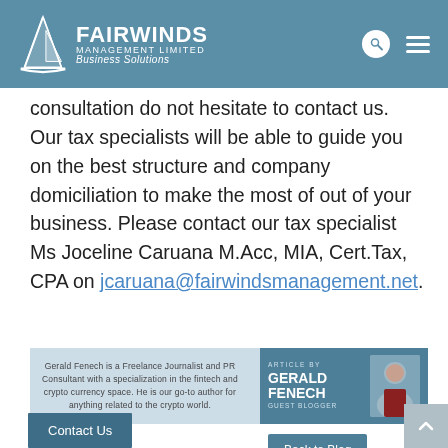[Figure (logo): Fairwinds Management Limited logo with sailboat graphic and company name on teal/steel-blue header bar]
consultation do not hesitate to contact us. Our tax specialists will be able to guide you on the best structure and company domiciliation to make the most of out of your business. Please contact our tax specialist Ms Joceline Caruana M.Acc, MIA, Cert.Tax, CPA on jcaruana@fairwindsmanagement.net.
[Figure (photo): Author bio card: Gerald Fenech is a Freelance Journalist and PR Consultant with a specialization in the fintech and crypto currency space. He is our go-to author for anything related to the crypto world. Article by Gerald Fenech, Guest Blogger.]
Back to Blog
Contact Us